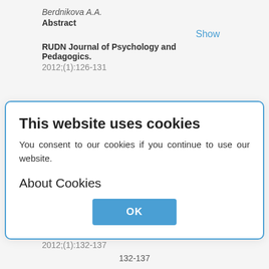Berdnikova A.A.
Abstract
Show
RUDN Journal of Psychology and Pedagogics.
2012;(1):126-131
This website uses cookies
You consent to our cookies if you continue to use our website.
About Cookies
OK
Materova A.V.
Abstract
Show
RUDN Journal of Psychology and Pedagogics.
2012;(1):132-137
132-137